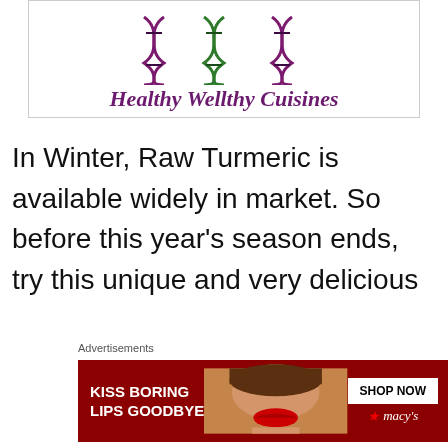[Figure (logo): Healthy Wellthy Cuisines logo with three DNA double helix strands in purple, green, and dark colors above the brand name in bold italic purple serif font]
In Winter, Raw Turmeric is available widely in market. So before this year's season ends, try this unique and very delicious
Advertisements
[Figure (screenshot): Macy's advertisement banner: 'KISS BORING LIPS GOODBYE' with a woman's face and lips, SHOP NOW button, and Macy's star logo on dark red background]